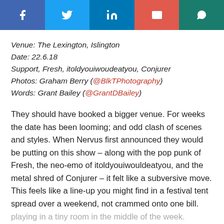[Figure (other): Social media share buttons: Facebook, Twitter, LinkedIn, Email, WhatsApp]
Venue: The Lexington, Islington
Date: 22.6.18
Support, Fresh, itoldyouiwoudeatyou, Conjurer
Photos: Graham Berry (@BlkTPhotography)
Words: Grant Bailey (@GrantDBailey)
They should have booked a bigger venue. For weeks the date has been looming; and odd clash of scenes and styles. When Nervus first announced they would be putting on this show – along with the pop punk of Fresh, the neo-emo of itoldyouiwouldeatyou, and the metal shred of Conjurer – it felt like a subversive move. This feels like a line-up you might find in a festival tent spread over a weekend, not crammed onto one bill. playing in a tiny room in the middle of the week.